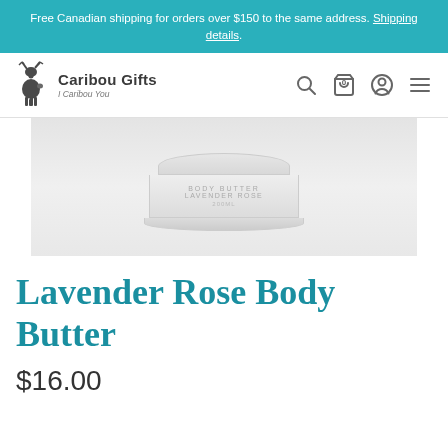Free Canadian shipping for orders over $150 to the same address. Shipping details.
[Figure (logo): Caribou Gifts logo with deer icon and tagline 'I Caribou You']
[Figure (photo): White body butter jar labeled 'Body Butter Lavender Rose' on a light gray background]
Lavender Rose Body Butter
$16.00